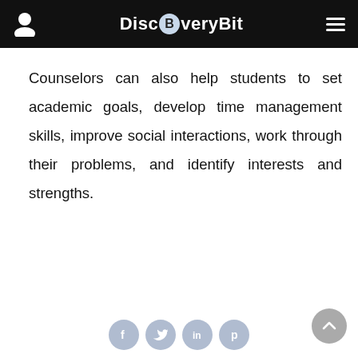DiscBveryBit
Counselors can also help students to set academic goals, develop time management skills, improve social interactions, work through their problems, and identify interests and strengths.
Social icons: Facebook, Twitter, LinkedIn, Pinterest